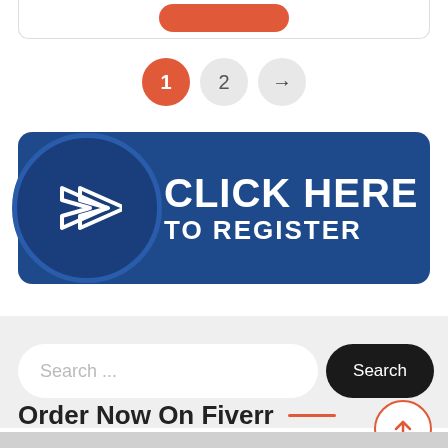[Figure (screenshot): Top of a card with an orange/red rounded button partially visible]
[Figure (infographic): Pagination control with active page 1 (orange), page 2 (gray), and next arrow (gray)]
[Figure (infographic): Blue banner button with circle icon and right-arrow saying CLICK HERE TO REGISTER]
[Figure (screenshot): Search bar section with text input field showing 'Search ...' placeholder and black 'Search' button, plus scroll-to-top circle button]
Order Now On Fiverr —